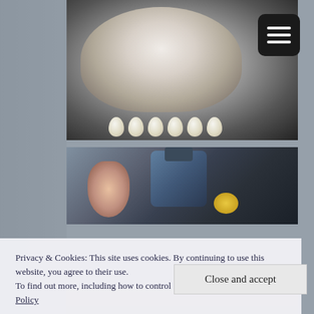[Figure (photo): White hen sitting on a nest of eggs in a dark enclosure, viewed from above. Multiple white/cream eggs visible beneath the hen on straw bedding.]
[Figure (photo): A yellow chick and an adult hen near a blue water container/jug in a dark enclosure. A small yellow chick is visible in the center of the image.]
Privacy & Cookies: This site uses cookies. By continuing to use this website, you agree to their use.
To find out more, including how to control cookies, see here: Cookie Policy
[Figure (photo): Partial bottom photo, partially visible, showing animals in a farm setting.]